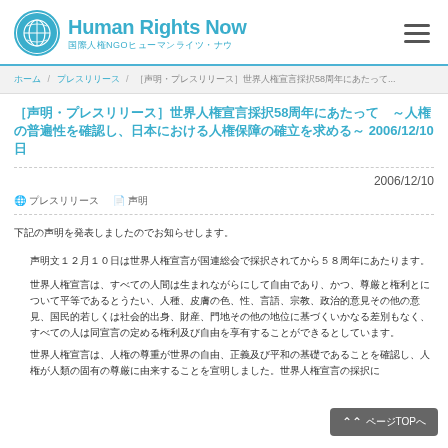Human Rights Now 国際人権NGOヒューマンライツ・ナウ
ホーム / プレスリリース / ［声明・プレスリリース］世界人権宣言採択58周年にあたって...
［声明・プレスリリース］世界人権宣言採択58周年にあたって　～人権の普遍性を確認し、日本における人権保障の確立を求める～ 2006/12/10日
2006/12/10
🌐 プレスリリース  📄 声明
下記の声明を発表しましたのでお知らせします。
声明文１２月１０日は世界人権宣言が国連総会で採択されてから５８周年にあたります。
世界人権宣言は、すべての人間は生まれながらにして自由であり、かつ、尊厳と権利とについて平等であるとうたい、人種、皮膚の色、性、言語、宗教、政治的意見その他の意見、国民的若しくは社会的出身、財産、門地その他の地位に基づくいかなる差別もなく、すべての人は同宣言の定める権利及び自由を享有することができるとしています。
世界人権宣言は、人権の尊重が世界の自由、正義及び平和の基礎であることを確認し、人権が人類の固有の尊厳に由来することを宣明しました。世界人権宣言の採択に